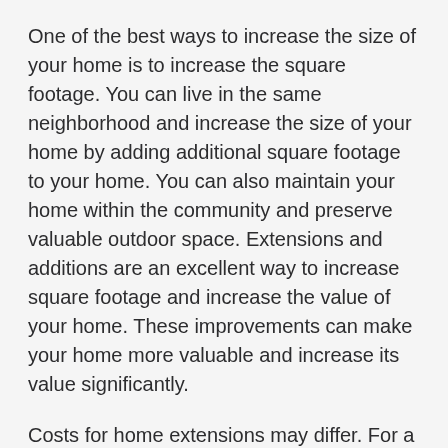One of the best ways to increase the size of your home is to increase the square footage. You can live in the same neighborhood and increase the size of your home by adding additional square footage to your home. You can also maintain your home within the community and preserve valuable outdoor space. Extensions and additions are an excellent way to increase square footage and increase the value of your home. These improvements can make your home more valuable and increase its value significantly.
Costs for home extensions may differ. For a basic single-room extension, costs can vary between $17,000 and $78,000. Multi-level extensions can cost up to $350,000 and provide the most living space. A second floor addition requires a temporary roof,